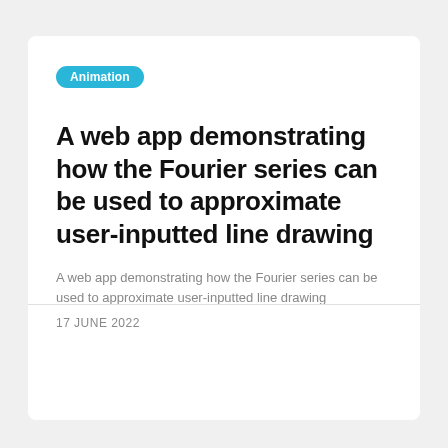Animation
A web app demonstrating how the Fourier series can be used to approximate user-inputted line drawing
A web app demonstrating how the Fourier series can be used to approximate user-inputted line drawing
17 JUNE 2022